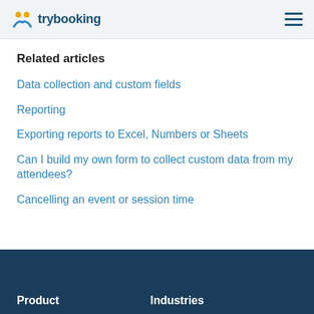trybooking
Related articles
Data collection and custom fields
Reporting
Exporting reports to Excel, Numbers or Sheets
Can I build my own form to collect custom data from my attendees?
Cancelling an event or session time
Product    Industries